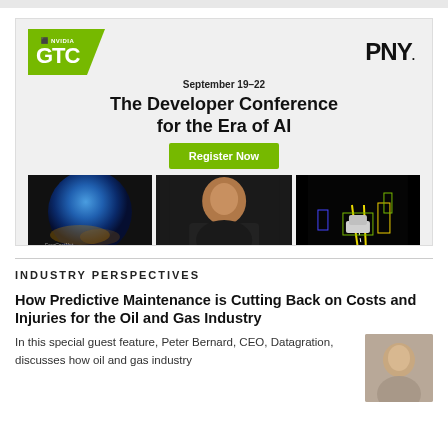[Figure (infographic): NVIDIA GTC conference advertisement sponsored by PNY. Shows NVIDIA GTC logo in green, PNY logo, dates September 19-22, headline 'The Developer Conference for the Era of AI', a green 'Register Now' button, and three images: a globe (FourCastNet), a person in a black jacket, and an autonomous driving visualization.]
INDUSTRY PERSPECTIVES
How Predictive Maintenance is Cutting Back on Costs and Injuries for the Oil and Gas Industry
In this special guest feature, Peter Bernard, CEO, Datagration, discusses how oil and gas industry